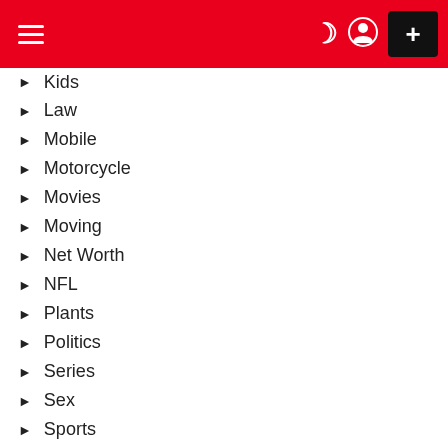Navigation header with hamburger menu, moon icon, user icon, and plus button
Kids
Law
Mobile
Motorcycle
Movies
Moving
Net Worth
NFL
Plants
Politics
Series
Sex
Sports
Style
Technology
Tips
Top Trending
Travel
TV Shows
Uncategorized
World Tech